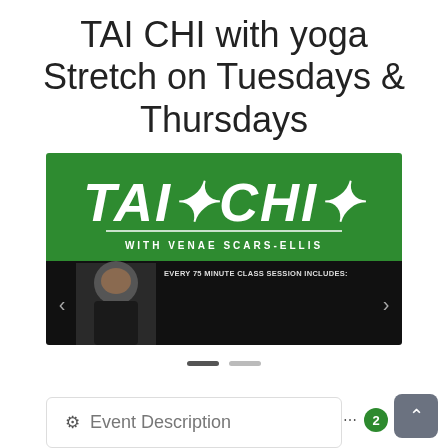TAI CHI with yoga Stretch on Tuesdays & Thursdays
[Figure (photo): Tai Chi with Venae Scars-Ellis promotional banner: green section with TAI CHI logo and instructor silhouette figures, black section with instructor photo and text describing the 75-minute class session including 20-minute Tai Chi warm-up, 40 minutes of basic techniques and forms, and 15 minutes of yoga stretching with Contemplation Cool-Down. Navigation arrows on left and right.]
Event Description